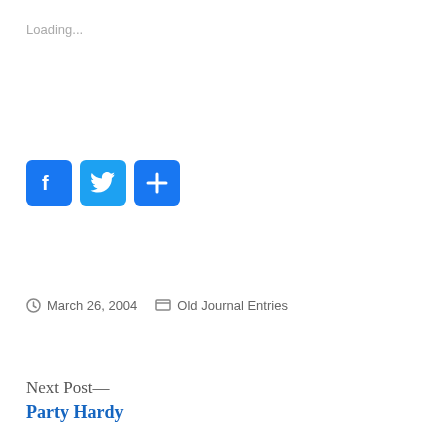Loading...
[Figure (other): Social sharing buttons: Facebook (f), Twitter (bird), and a share (+) button, all with blue rounded square backgrounds]
March 26, 2004   Old Journal Entries
Next Post—
Party Hardy